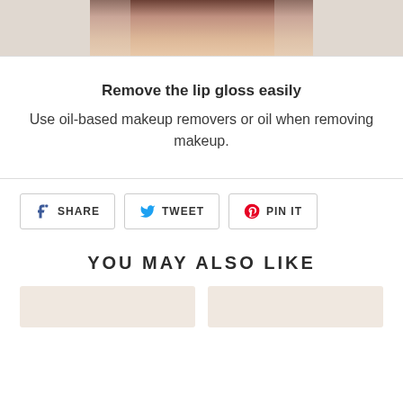[Figure (photo): Partial close-up photo of a person's face/chin area, cropped at the bottom of the frame]
Remove the lip gloss easily
Use oil-based makeup removers or oil when removing makeup.
SHARE   TWEET   PIN IT
YOU MAY ALSO LIKE